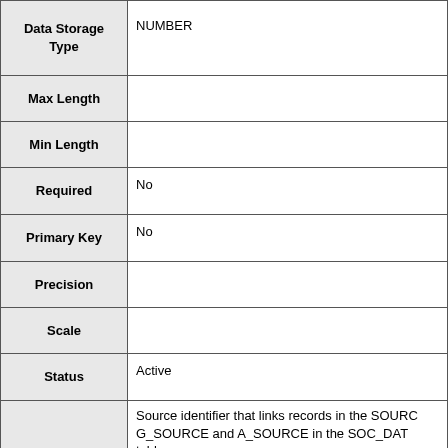| Field | Value |
| --- | --- |
| Data Storage Type | NUMBER |
| Max Length |  |
| Min Length |  |
| Required | No |
| Primary Key | No |
| Precision |  |
| Scale |  |
| Status | Active |
| Description | Source identifier that links records in the SOURCE_G_SOURCE and A_SOURCE in the SOC_DAT table; S_SOURCE in the BIORES table; SOURCE_ID and data layer; ESI_SOURCE in the ESIP data layer; and HYDRO data layer. | Description Source: NOAA |
| General Data Type |  |
| Unit of Measure |  |